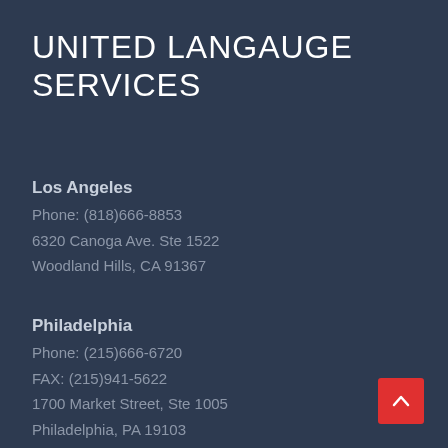UNITED LANGAUGE SERVICES
Los Angeles
Phone: (818)666-8853
6320 Canoga Ave. Ste 1522
Woodland Hills, CA 91367
Philadelphia
Phone: (215)666-6720
FAX: (215)941-5622
1700 Market Street, Ste 1005
Philadelphia, PA 19103